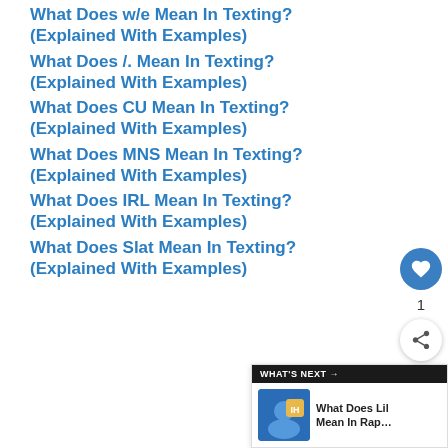What Does w/e Mean In Texting? (Explained With Examples)
What Does /. Mean In Texting? (Explained With Examples)
What Does CU Mean In Texting? (Explained With Examples)
What Does MNS Mean In Texting? (Explained With Examples)
What Does IRL Mean In Texting? (Explained With Examples)
What Does Slat Mean In Texting? (Explained With Examples)
[Figure (other): Floating action bar with a heart/like button (blue circle), count of 1, and a share button (white circle with share icon)]
[Figure (other): WHAT'S NEXT panel showing thumbnail and text: What Does Lil Mean In Rap...]